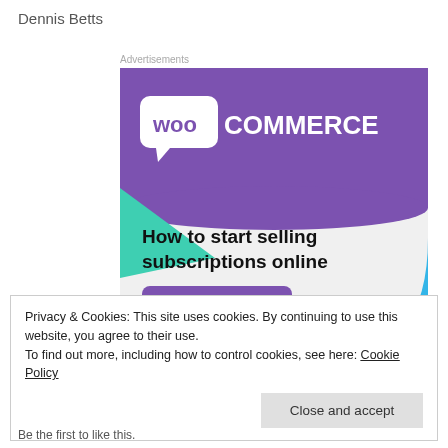Dennis Betts
Advertisements
[Figure (illustration): WooCommerce advertisement banner. Purple speech-bubble logo with 'woo COMMERCE' text at top on purple background. Teal triangle shape on left, blue circular arc on right. Light grey background. Bold black text: 'How to start selling subscriptions online'. Purple rounded button: 'Start a new store'.]
Privacy & Cookies: This site uses cookies. By continuing to use this website, you agree to their use.
To find out more, including how to control cookies, see here: Cookie Policy
Close and accept
Be the first to like this.